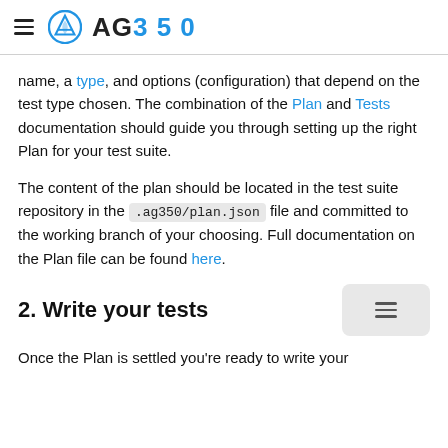AG350
name, a type, and options (configuration) that depend on the test type chosen. The combination of the Plan and Tests documentation should guide you through setting up the right Plan for your test suite.
The content of the plan should be located in the test suite repository in the .ag350/plan.json file and committed to the working branch of your choosing. Full documentation on the Plan file can be found here.
2. Write your tests
Once the Plan is settled you're ready to write your